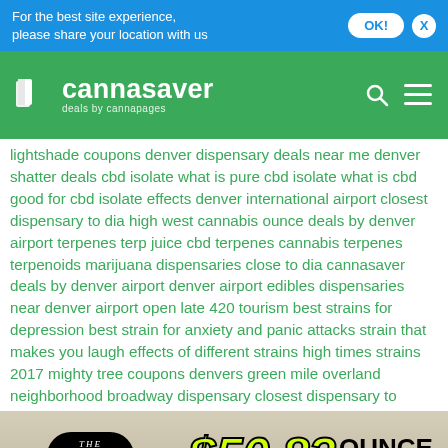For the best site experience, please share your location with us
[Figure (logo): Cannasaver logo - deals by cannapages, green banner with cannabis leaf background]
lightshade coupons denver dispensary deals near me denver shatter deals cbd isolate what is pure cbd isolate what is cbd good for cbd isolate effects denver international airport closest dispensary to dia high west cannabis ounce deals by denver airport terpenes terp juice cbd terpenes cannabis terpenes terpenoids marijuana dispensaries close to dia cannasaver deals by denver airport denver airport edibles dispensaries near denver airport open late 420 tourism best strains for depression best strain for anxiety and panic attacks strain that makes you laugh effects of different strains high times strains 2017 mighty tree coupons denvers green mile overland neighborhood broadway dispensary closest dispensary to
[Figure (illustration): The Stone dispensary advertisement banner - The Stone logo in black oval, $50.83 OUNCE OF FLOWER in yellow and black text]